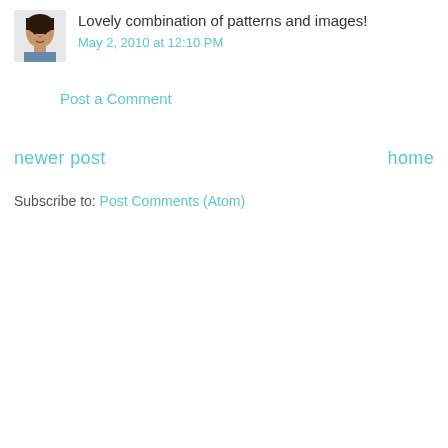[Figure (photo): Small circular/square avatar photo of a woman with dark hair]
Lovely combination of patterns and images!
May 2, 2010 at 12:10 PM
Post a Comment
newer post
home
Subscribe to: Post Comments (Atom)